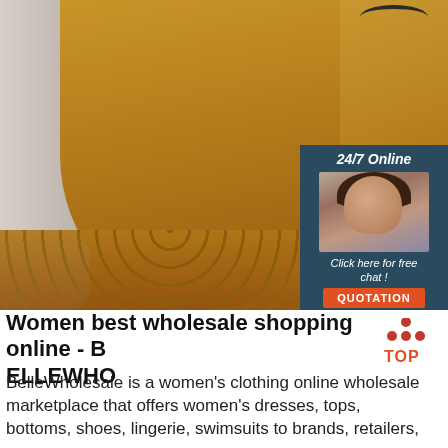[Figure (photo): Composite image: left side shows mannequin in mustard/golden-yellow dress with laser-cut lace hem, right side shows same dress on hanger. Overlay in bottom-right corner shows a 24/7 online chat widget with customer service agent photo, 'Click here for free chat!' text, and orange QUOTATION button.]
Women best wholesale shopping online - BELLEWHO
[Figure (logo): Red and orange 'TOP' logo with triangular arrow pointing up]
BelleWholesale is a women's clothing online wholesale marketplace that offers women's dresses, tops, bottoms, shoes, lingerie, swimsuits to brands, retailers,